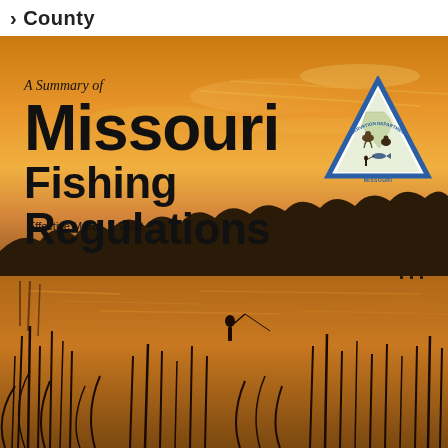County
[Figure (photo): Sunset landscape with silhouette of trees, lake water with reflections, foreground with reeds/cattails and a lone figure fishing. Warm golden-orange sky. Cover photo for Missouri Fishing Regulations booklet.]
A Summary of Missouri Fishing Regulations
Effective March 1, 2022
[Figure (logo): Missouri Department of Conservation triangle logo with wildlife illustrations and text 'CONSERVATION DEPARTMENT MISSOURI']